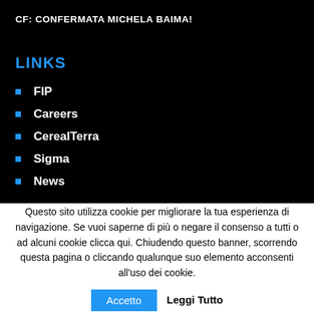CF: CONFERMATA MICHELA BAIMA!
LINKS
FIP
Careers
CerealTerra
Sigma
News
Questo sito utilizza cookie per migliorare la tua esperienza di navigazione. Se vuoi saperne di più o negare il consenso a tutti o ad alcuni cookie clicca qui. Chiudendo questo banner, scorrendo questa pagina o cliccando qualunque suo elemento acconsenti all'uso dei cookie.
Accetto
Leggi Tutto